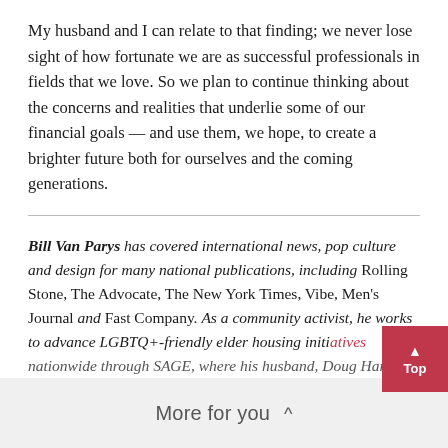My husband and I can relate to that finding; we never lose sight of how fortunate we are as successful professionals in fields that we love. So we plan to continue thinking about the concerns and realities that underlie some of our financial goals — and use them, we hope, to create a brighter future both for ourselves and the coming generations.
Bill Van Parys has covered international news, pop culture and design for many national publications, including Rolling Stone, The Advocate, The New York Times, Vibe, Men's Journal and Fast Company. As a community activist, he works to advance LGBTQ+-friendly elder housing initiatives nationwide through SAGE, where his husband, Doug Harris
More for you ^